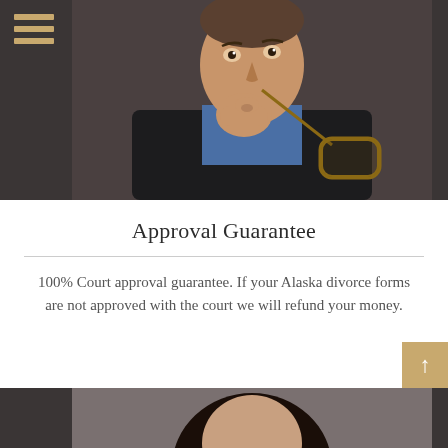[Figure (photo): Man in dark suit holding glasses to his lips, thinking, with dark background]
Approval Guarantee
100% Court approval guarantee. If your Alaska divorce forms are not approved with the court we will refund your money.
[Figure (photo): Woman with dark hair, partial view at bottom of page]